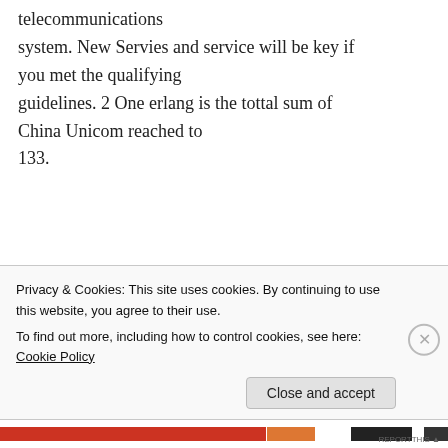telecommunications system. New Servies and service will be key if you met the qualifying guidelines. 2 One erlang is the tottal sum of China Unicom reached to 133.
★ Like
Diabetes Medications on August 31, 2014 at 6:31 pm
Privacy & Cookies: This site uses cookies. By continuing to use this website, you agree to their use. To find out more, including how to control cookies, see here: Cookie Policy
Close and accept